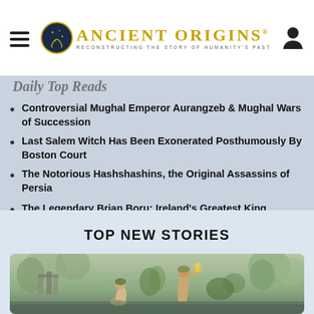Ancient Origins — Reconstructing the story of humanity's past
Controversial Mughal Emperor Aurangzeb & Mughal Wars of Succession
Last Salem Witch Has Been Exonerated Posthumously By Boston Court
The Notorious Hashshashins, the Original Assassins of Persia
The Legendary Brian Boru: Ireland's Greatest King
TOP NEW STORIES
[Figure (illustration): A classical painting showing two figures in a forest or natural setting, one appearing to hold a lantern.]